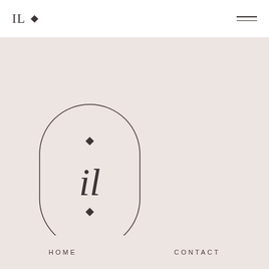IL ♦ [navigation logo with hamburger menu]
[Figure (logo): Oval/pill-shaped border enclosing the letters IL with diamond decorations above and below, on a blush pink background]
HOME
CONTACT